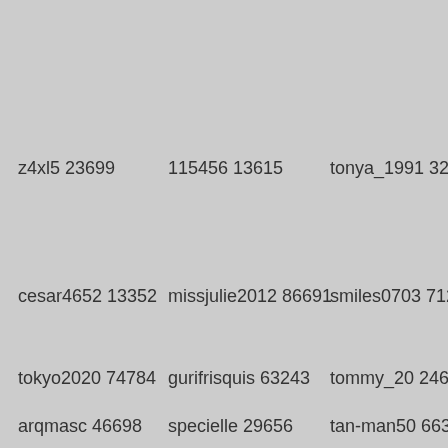z4xl5 23699
115456 13615
tonya_1991 3272
cesar4652 13352
missjulie2012 86691
smiles0703 71217
tokyo2020 74784
gurifrisquis 63243
tommy_20 24627
arqmasc 46698
specielle 29656
tan-man50 66355